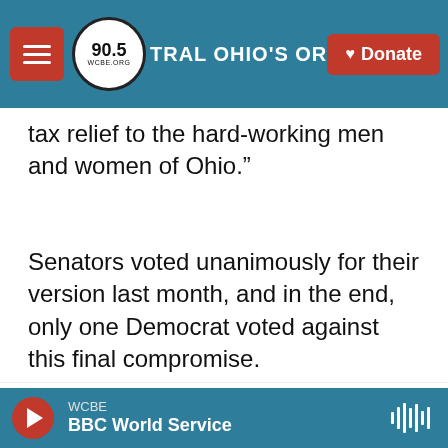[Figure (screenshot): WCBE 90.5 NPR station navigation bar with hamburger menu, station logo, station tagline 'CENTRAL OHIO'S ORIGINAL NPR STATION SINCE 1956', and red Donate button]
tax relief to the hard-working men and women of Ohio.”
Senators voted unanimously for their version last month, and in the end, only one Democrat voted against this final compromise.
Tags   WCBE News   state budget
[Figure (screenshot): Audio player bar showing WCBE BBC World Service with red play button and waveform icon]